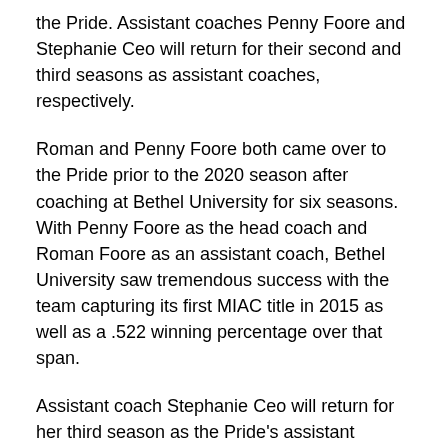the Pride. Assistant coaches Penny Foore and Stephanie Ceo will return for their second and third seasons as assistant coaches, respectively.
Roman and Penny Foore both came over to the Pride prior to the 2020 season after coaching at Bethel University for six seasons. With Penny Foore as the head coach and Roman Foore as an assistant coach, Bethel University saw tremendous success with the team capturing its first MIAC title in 2015 as well as a .522 winning percentage over that span.
Assistant coach Stephanie Ceo will return for her third season as the Pride's assistant coach. As a four year starter at second base for the Texas Longhorns, she finished with a career batting average of .332. Outside of USSSA, Ceo is an assistant coach with Embry-Riddle.